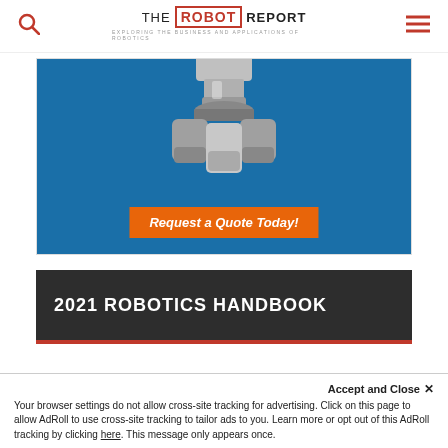THE ROBOT REPORT — Exploring the Business and Applications of Robotics
[Figure (photo): Industrial robot gripper/end-effector shown close-up against blue background with orange 'Request a Quote Today!' call-to-action banner]
2021 ROBOTICS HANDBOOK
Accept and Close ✕
Your browser settings do not allow cross-site tracking for advertising. Click on this page to allow AdRoll to use cross-site tracking to tailor ads to you. Learn more or opt out of this AdRoll tracking by clicking here. This message only appears once.